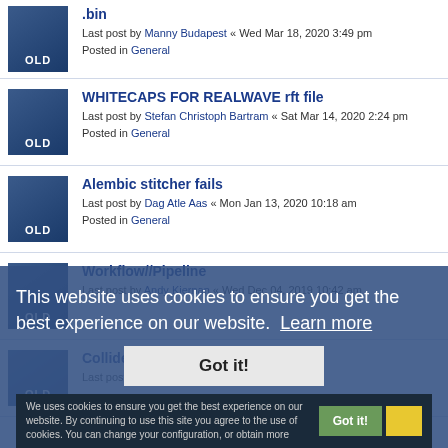.bin — Last post by Manny Budapest « Wed Mar 18, 2020 3:49 pm — Posted in General
WHITECAPS FOR REALWAVE rft file — Last post by Stefan Christoph Bartram « Sat Mar 14, 2020 2:24 pm — Posted in General
Alembic stitcher fails — Last post by Dag Atle Aas « Mon Jan 13, 2020 10:18 am — Posted in General
Workflow//Pipeline — Last post by Andy Kiernan « Wed Dec 04, 2019 10:42 am
Collider Tag on a Plane — Last post by Birgit Kursawe « Wed Oct 02, 2019
This website uses cookies to ensure you get the best experience on our website. Learn more
Got it!
We uses cookies to ensure you get the best experience on our website. By continuing to use this site you agree to the use of cookies. You can change your configuration, or obtain more